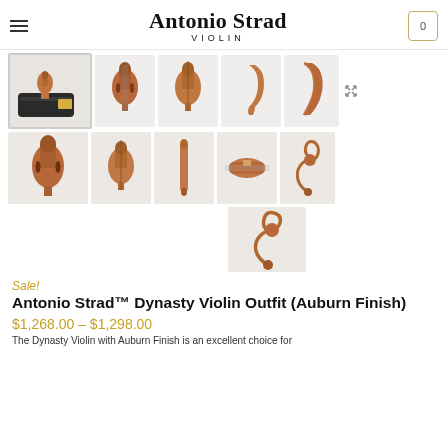Antonio Strad VIOLIN
[Figure (photo): Product image gallery showing 11 thumbnail photos of a violin outfit from multiple angles — full outfit with case, front view, back view, side views, scroll details]
Sale!
Antonio Strad™ Dynasty Violin Outfit (Auburn Finish)
$1,268.00 – $1,298.00
The Dynasty Violin with Auburn Finish is an excellent choice for